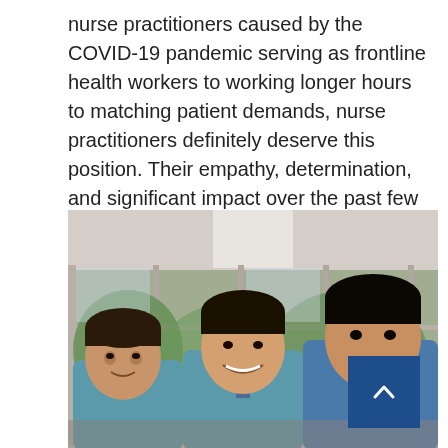nurse practitioners caused by the COVID-19 pandemic serving as frontline health workers to working longer hours to matching patient demands, nurse practitioners definitely deserve this position. Their empathy, determination, and significant impact over the past few years cannot be overlooked.
[Figure (photo): Three smiling healthcare workers in scrubs standing together in a clinic or hospital setting with large windows and greenery in the background. A blue scroll-to-top button with an upward chevron is visible in the lower right corner.]